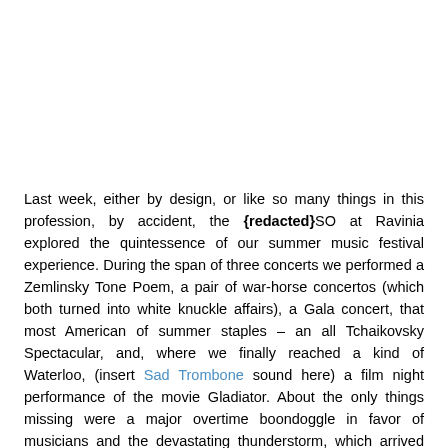Last week, either by design, or like so many things in this profession, by accident, the {redacted}SO at Ravinia explored the quintessence of our summer music festival experience. During the span of three concerts we performed a Zemlinsky Tone Poem, a pair of war-horse concertos (which both turned into white knuckle affairs), a Gala concert, that most American of summer staples – an all Tchaikovsky Spectacular, and, where we finally reached a kind of Waterloo, (insert Sad Trombone sound here) a film night performance of the movie Gladiator. About the only things missing were a major overtime boondoggle in favor of musicians and the devastating thunderstorm, which arrived Sunday evening about an hour too late to do anybody any